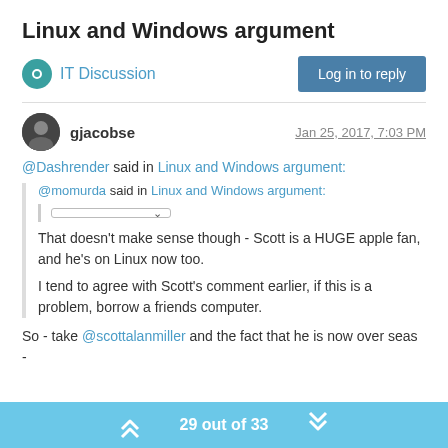Linux and Windows argument
IT Discussion
Log in to reply
gjacobse — Jan 25, 2017, 7:03 PM
@Dashrender said in Linux and Windows argument:
@momurda said in Linux and Windows argument:
That doesn't make sense though - Scott is a HUGE apple fan, and he's on Linux now too.
I tend to agree with Scott's comment earlier, if this is a problem, borrow a friends computer.
So - take @scottalanmiller and the fact that he is now over seas -
29 out of 33